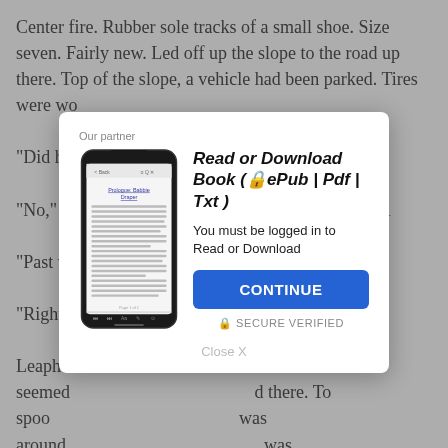Center fire. Rubber sole tracks of a small shoe. Size seven. Fairly new. Led off up the slope to the road up there. Top of the slope, a vehicle had been parked. Tires were wo...
"Did he...
"No," C... Tracks down al...
"Past w...
"Right,"...
Leapho... seemed... d there. To spoo... around. ...was scuffed. ...e juniper. ...from where people dump their trash and there's always a lot of stuff blowing around. But I found this." He got out his billfold, extracted a bit of yellow paper,
[Figure (screenshot): Modal dialog overlay with 'Our partner' header, a smartphone showing an e-reader app with 'Prologue: Babbie Draper', bold italic title 'Read or Download Book (🔒ePub | Pdf | Txt)', text 'You must be logged in to Read or Download', a blue CONTINUE button, SECURE VERIFIED text, and Close X link.]